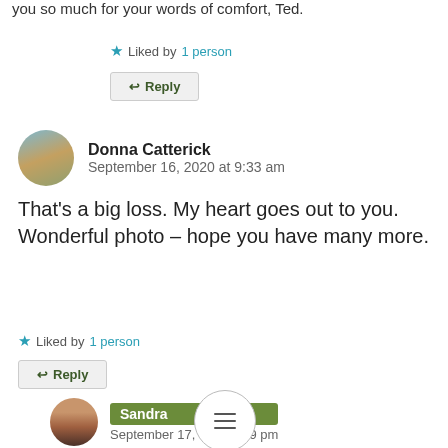you so much for your words of comfort, Ted.
★ Liked by 1 person
↩ Reply
Donna Catterick
September 16, 2020 at 9:33 am
That's a big loss. My heart goes out to you. Wonderful photo – hope you have many more.
★ Liked by 1 person
↩ Reply
Sandra
September 17, 2020 at 6:49 pm
Thank you so much for your kind words Donna. I